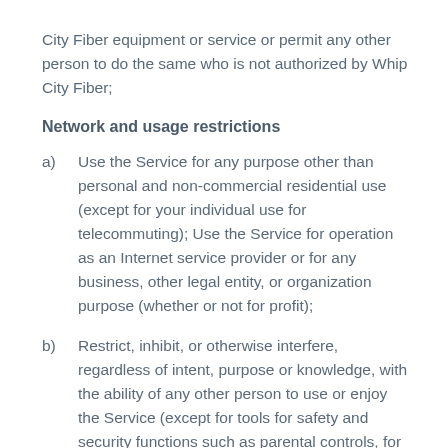City Fiber equipment or service or permit any other person to do the same who is not authorized by Whip City Fiber;
Network and usage restrictions
a)    Use the Service for any purpose other than personal and non-commercial residential use (except for your individual use for telecommuting); Use the Service for operation as an Internet service provider or for any business, other legal entity, or organization purpose (whether or not for profit);
b)    Restrict, inhibit, or otherwise interfere, regardless of intent, purpose or knowledge, with the ability of any other person to use or enjoy the Service (except for tools for safety and security functions such as parental controls, for example), including,